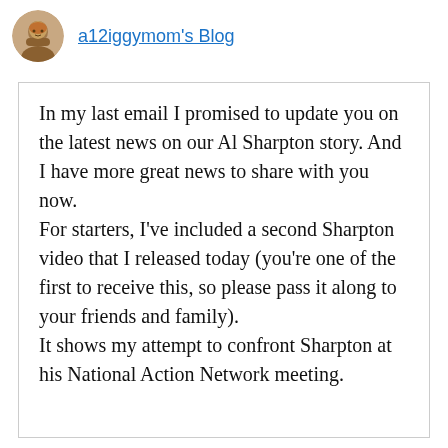a12iggymom's Blog
In my last email I promised to update you on the latest news on our Al Sharpton story. And I have more great news to share with you now.
For starters, I've included a second Sharpton video that I released today (you're one of the first to receive this, so please pass it along to your friends and family).
It shows my attempt to confront Sharpton at his National Action Network meeting.